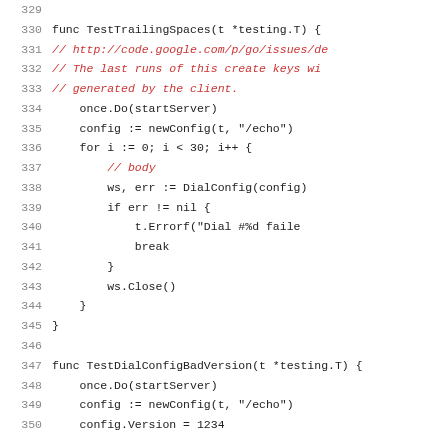[Figure (screenshot): Code snippet showing Go test functions: TestTrailingSpaces and TestDialConfigBadVersion, with line numbers 329-350. Comments in red/italic, code in dark monospace font on white background.]